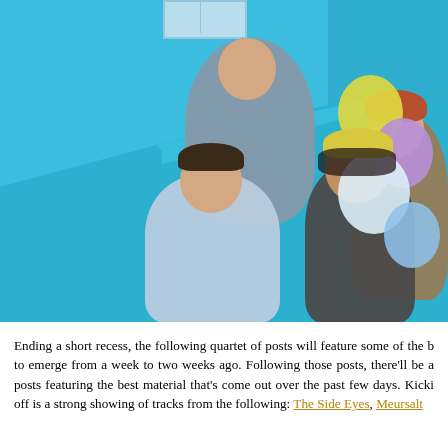[Figure (photo): Four people posing against a bright turquoise/cyan blue wall with a diagonal staircase ramp. Top: a person in a grey hoodie leaning over, and a person with red/auburn hair in a brown jacket. Bottom: a smiling woman in a light blue short-sleeve button shirt, and a man in a grey tank top with arms crossed wearing a yellow beanie, with colorful balloons (yellow, purple, white, blue) visible on the right side.]
Ending a short recess, the following quartet of posts will feature some of the b to emerge from a week to two weeks ago. Following those posts, there'll be a posts featuring the best material that's come out over the past few days. Kicki off is a strong showing of tracks from the following: The Side Eyes, Meursalt